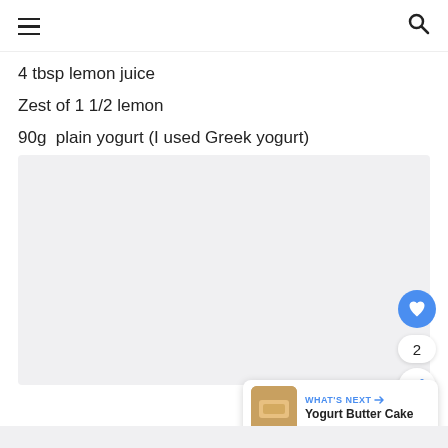navigation header with hamburger menu and search icon
4 tbsp lemon juice
Zest of 1 1/2 lemon
90g  plain yogurt (I used Greek yogurt)
[Figure (photo): Large image placeholder area (light grey background) showing a recipe photo]
WHAT'S NEXT → Yogurt Butter Cake